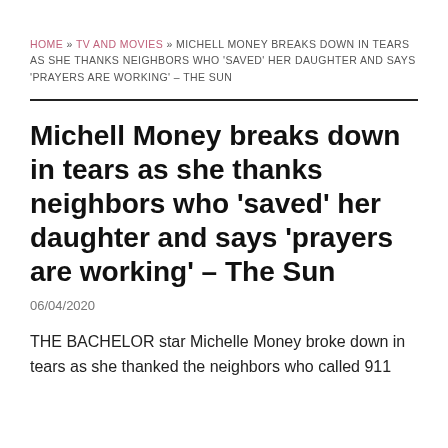HOME » TV AND MOVIES » MICHELL MONEY BREAKS DOWN IN TEARS AS SHE THANKS NEIGHBORS WHO 'SAVED' HER DAUGHTER AND SAYS 'PRAYERS ARE WORKING' – THE SUN
Michell Money breaks down in tears as she thanks neighbors who 'saved' her daughter and says 'prayers are working' – The Sun
06/04/2020
THE BACHELOR star Michelle Money broke down in tears as she thanked the neighbors who called 911